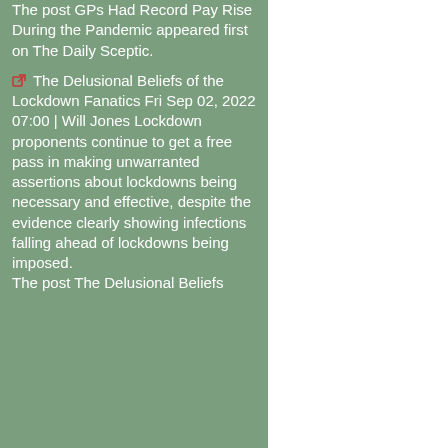The post GPs Had Record Pay Rise During the Pandemic appeared first on The Daily Sceptic.
The Delusional Beliefs of the Lockdown Fanatics Fri Sep 02, 2022 07:00 | Will Jones Lockdown proponents continue to get a free pass in making unwarranted assertions about lockdowns being necessary and effective, despite the evidence clearly showing infections falling ahead of lockdowns being imposed. The post The Delusional Beliefs